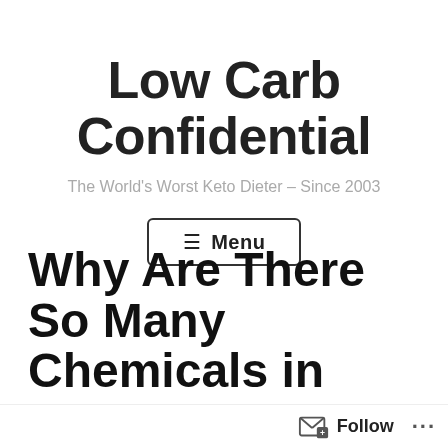Low Carb Confidential
The World's Worst Keto Dieter – Since 2003
☰ Menu
Why Are There So Many Chemicals in your F...